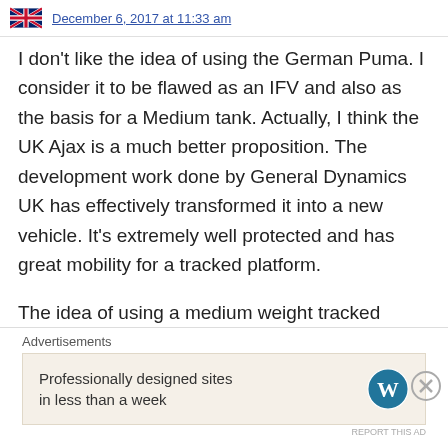December 6, 2017 at 11:33 am
I don't like the idea of using the German Puma. I consider it to be flawed as an IFV and also as the basis for a Medium tank. Actually, I think the UK Ajax is a much better proposition. The development work done by General Dynamics UK has effectively transformed it into a new vehicle. It's extremely well protected and has great mobility for a tracked platform.
The idea of using a medium weight tracked platform as a common base platform for a
Advertisements
Professionally designed sites in less than a week